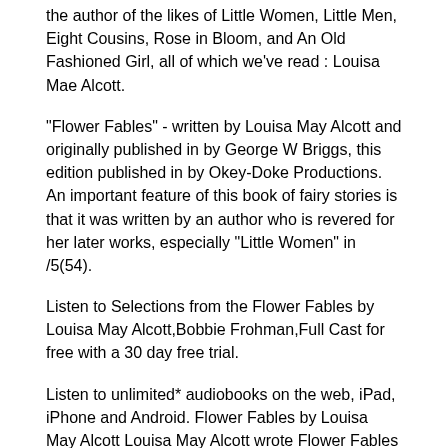the author of the likes of Little Women, Little Men, Eight Cousins, Rose in Bloom, and An Old Fashioned Girl, all of which we've read : Louisa Mae Alcott.
"Flower Fables" - written by Louisa May Alcott and originally published in by George W Briggs, this edition published in by Okey-Doke Productions. An important feature of this book of fairy stories is that it was written by an author who is revered for her later works, especially "Little Women" in /5(54).
Listen to Selections from the Flower Fables by Louisa May Alcott,Bobbie Frohman,Full Cast for free with a 30 day free trial.
Listen to unlimited* audiobooks on the web, iPad, iPhone and Android. Flower Fables by Louisa May Alcott Louisa May Alcott wrote Flower Fables a collection of fanciful stories, for Ralph Waldo Emerson's daughter, Ella Emerson.
It was Alcott's first published work, released December 9,earning Alcott $35 from the Boston publisher, George. Brand new Book. Flower Fables is a classic collection of romantic short stories by